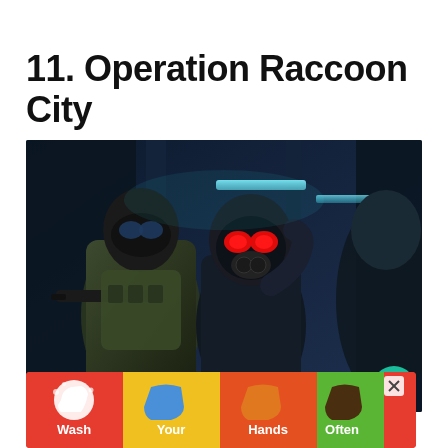11. Operation Raccoon City
[Figure (screenshot): Screenshot from Resident Evil: Operation Raccoon City showing armored soldiers in a dark industrial/futuristic corridor. Center character wears a black gas mask with red eye lenses. Left character is in military gear holding a rifle. Scene lit with teal/blue tones.]
[Figure (infographic): Advertisement banner showing hand-washing instructions: four colored hands (red, blue, orange, brown) with text 'Wash Your Hands Often' on a red background with close button (X).]